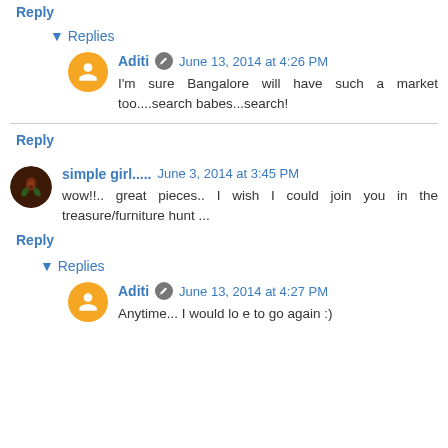Reply
▾ Replies
Aditi · June 13, 2014 at 4:26 PM
I'm sure Bangalore will have such a market too....search babes...search!
Reply
simple girl..... June 3, 2014 at 3:45 PM
wow!!.. great pieces.. I wish I could join you in the treasure/furniture hunt ...
Reply
▾ Replies
Aditi · June 13, 2014 at 4:27 PM
Anytime... I would lo e to go again :)